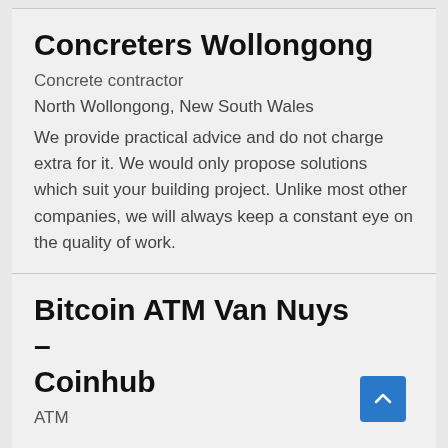Concreters Wollongong
Concrete contractor
North Wollongong, New South Wales
We provide practical advice and do not charge extra for it. We would only propose solutions which suit your building project. Unlike most other companies, we will always keep a constant eye on the quality of work.
Bitcoin ATM Van Nuys – Coinhub
ATM